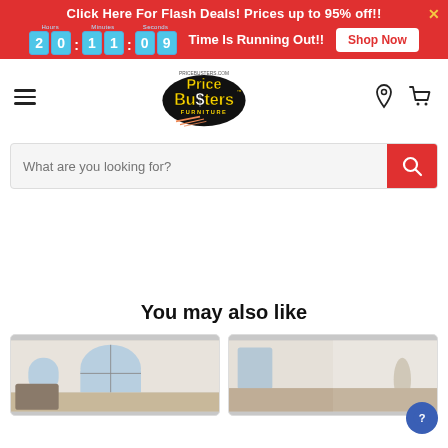Click Here For Flash Deals! Prices up to 95% off!! 20:11:09 Time Is Running Out!! Shop Now
[Figure (logo): Price Busters Furniture logo with yellow bold text on black, PRICEBUSTERS.COM above]
What are you looking for?
You may also like
[Figure (photo): Interior room photo with arched window, furniture shown]
[Figure (photo): Two interior room photos side by side showing furniture]